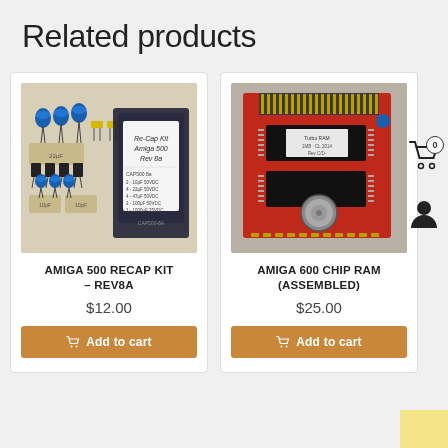Related products
[Figure (photo): Photo of Amiga 500 Recap Kit Rev 8A - showing capacitors, resistors, and a labeled bag with component list]
AMIGA 500 RECAP KIT – REV8A
$12.00
Add to cart
[Figure (photo): Photo of Amiga 600 Chip RAM Assembled - red circuit board with chips and coin cell battery]
AMIGA 600 CHIP RAM (ASSEMBLED)
$25.00
Add to cart